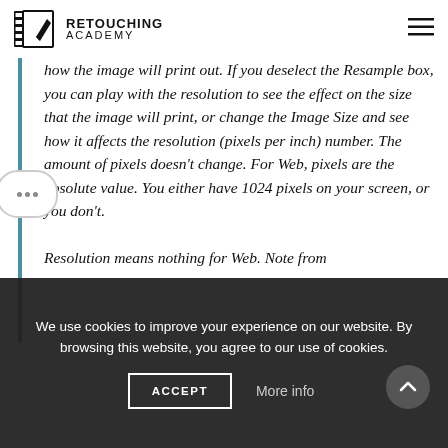RETOUCHING ACADEMY
how the image will print out. If you deselect the Resample box, you can play with the resolution to see the effect on the size that the image will print, or change the Image Size and see how it affects the resolution (pixels per inch) number. The amount of pixels doesn't change. For Web, pixels are the absolute value. You either have 1024 pixels on your screen, or you don't. Resolution means nothing for Web. Note from
We use cookies to improve your experience on our website. By browsing this website, you agree to our use of cookies.